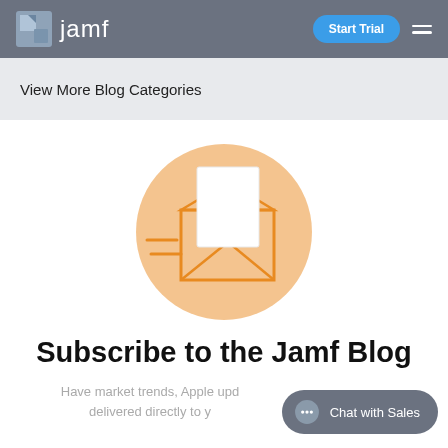jamf — Start Trial
View More Blog Categories
[Figure (illustration): Orange circle with a white envelope/letter illustration with orange lines suggesting motion/speed, on a white background]
Subscribe to the Jamf Blog
Have market trends, Apple upd... delivered directly to y...
Chat with Sales